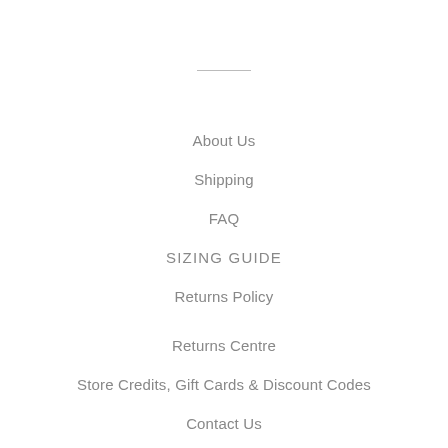[Figure (other): Horizontal divider line]
About Us
Shipping
FAQ
SIZING GUIDE
Returns Policy
Returns Centre
Store Credits, Gift Cards & Discount Codes
Contact Us
Search
Facebook